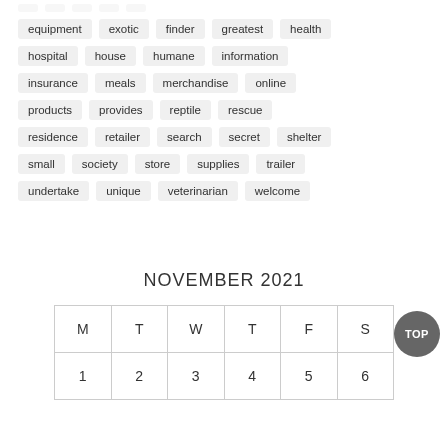equipment
exotic
finder
greatest
health
hospital
house
humane
information
insurance
meals
merchandise
online
products
provides
reptile
rescue
residence
retailer
search
secret
shelter
small
society
store
supplies
trailer
undertake
unique
veterinarian
welcome
NOVEMBER 2021
| M | T | W | T | F | S |
| --- | --- | --- | --- | --- | --- |
| 1 | 2 | 3 | 4 | 5 | 6 | 7 |